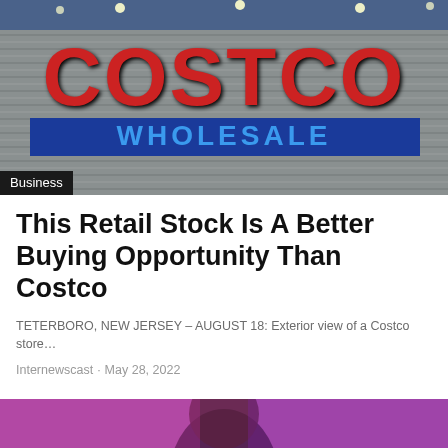[Figure (photo): Exterior photo of a Costco Wholesale store showing the red Costco logo and blue Wholesale sign on a corrugated metal facade. A dark label reading 'Business' overlays the bottom-left corner.]
This Retail Stock Is A Better Buying Opportunity Than Costco
TETERBORO, NEW JERSEY – AUGUST 18: Exterior view of a Costco store…
Internewscast · May 28, 2022
[Figure (photo): Partial bottom image showing a person with purple/pink toned background, cropped at the bottom of the page.]